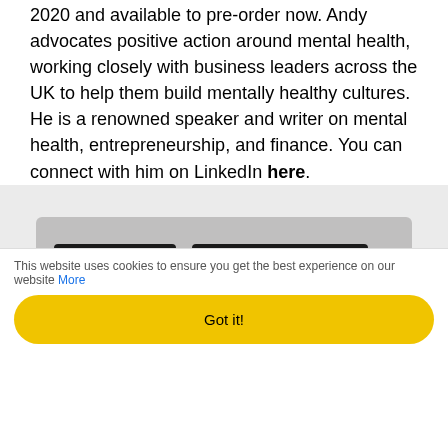2020 and available to pre-order now. Andy advocates positive action around mental health, working closely with business leaders across the UK to help them build mentally healthy cultures. He is a renowned speaker and writer on mental health, entrepreneurship, and finance. You can connect with him on LinkedIn here.
[Figure (other): Gray card preview section with two dark tag buttons labeled 'hr policies' and 'employee wellbeing']
This website uses cookies to ensure you get the best experience on our website More
Got it!